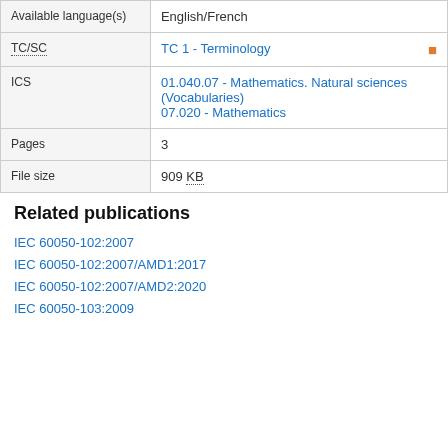| Field | Value |
| --- | --- |
| Edition | 1.0 |
| Available language(s) | English/French |
| TC/SC | TC 1 - Terminology |
| ICS | 01.040.07 - Mathematics. Natural sciences (Vocabularies)
07.020 - Mathematics |
| Pages | 3 |
| File size | 909 KB |
Related publications
IEC 60050-102:2007
IEC 60050-102:2007/AMD1:2017
IEC 60050-102:2007/AMD2:2020
IEC 60050-103:2009